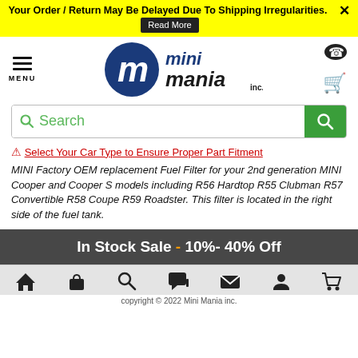Your Order / Return May Be Delayed Due To Shipping Irregularities. Read More
[Figure (logo): Mini Mania Inc. logo with hamburger menu and phone/cart icons]
Search
⚠ Select Your Car Type to Ensure Proper Part Fitment
MINI Factory OEM replacement Fuel Filter for your 2nd generation MINI Cooper and Cooper S models including R56 Hardtop R55 Clubman R57 Convertible R58 Coupe R59 Roadster. This filter is located in the right side of the fuel tank.
In Stock Sale - 10%- 40% Off
copyright © 2022 Mini Mania inc.